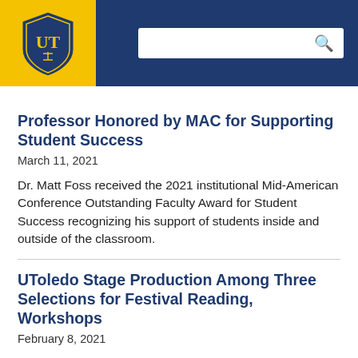University of Toledo website header with logo and search bar
Professor Honored by MAC for Supporting Student Success
March 11, 2021
Dr. Matt Foss received the 2021 institutional Mid-American Conference Outstanding Faculty Award for Student Success recognizing his support of students inside and outside of the classroom.
UToledo Stage Production Among Three Selections for Festival Reading, Workshops
February 8, 2021